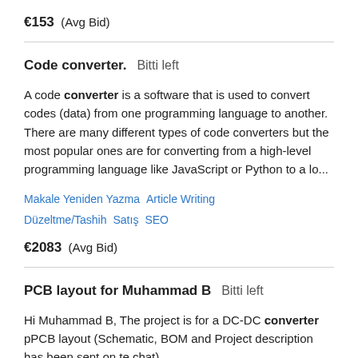€153  (Avg Bid)
Code converter.  Bitti left
A code converter is a software that is used to convert codes (data) from one programming language to another. There are many different types of code converters but the most popular ones are for converting from a high-level programming language like JavaScript or Python to a lo...
Makale Yeniden Yazma  Article Writing  Düzeltme/Tashih  Satış  SEO
€2083  (Avg Bid)
PCB layout for Muhammad B  Bitti left
Hi Muhammad B, The project is for a DC-DC converter pPCB layout (Schematic, BOM and Project description has been sent on te chat).